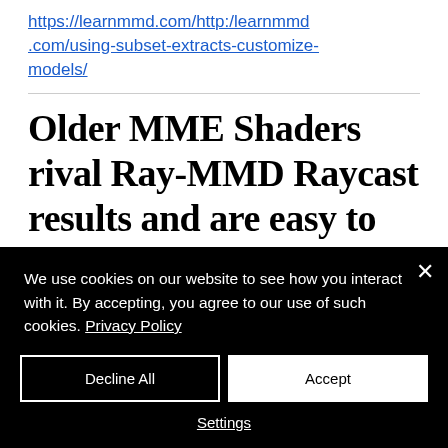https://learnmmd.com/http:/learnmmd.com/using-subset-extracts-customize-models/
Older MME Shaders rival Ray-MMD Raycast results and are easy to use!
This tutorial will teach you about a
We use cookies on our website to see how you interact with it. By accepting, you agree to our use of such cookies. Privacy Policy
Decline All
Accept
Settings